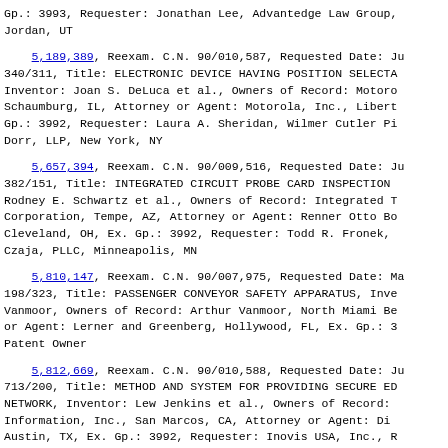Gp.: 3993, Requester: Jonathan Lee, Advantedge Law Group, Jordan, UT
5,189,389, Reexam. C.N. 90/010,587, Requested Date: Ju 340/311, Title: ELECTRONIC DEVICE HAVING POSITION SELECTA Inventor: Joan S. DeLuca et al., Owners of Record: Motoro Schaumburg, IL, Attorney or Agent: Motorola, Inc., Libert Gp.: 3992, Requester: Laura A. Sheridan, Wilmer Cutler Pi Dorr, LLP, New York, NY
5,657,394, Reexam. C.N. 90/009,516, Requested Date: Ju 382/151, Title: INTEGRATED CIRCUIT PROBE CARD INSPECTION Rodney E. Schwartz et al., Owners of Record: Integrated T Corporation, Tempe, AZ, Attorney or Agent: Renner Otto Bo Cleveland, OH, Ex. Gp.: 3992, Requester: Todd R. Fronek, Czaja, PLLC, Minneapolis, MN
5,810,147, Reexam. C.N. 90/007,975, Requested Date: Ma 198/323, Title: PASSENGER CONVEYOR SAFETY APPARATUS, Inve Vanmoor, Owners of Record: Arthur Vanmoor, North Miami Be or Agent: Lerner and Greenberg, Hollywood, FL, Ex. Gp.: 3 Patent Owner
5,812,669, Reexam. C.N. 90/010,588, Requested Date: Ju 713/200, Title: METHOD AND SYSTEM FOR PROVIDING SECURE ED NETWORK, Inventor: Lew Jenkins et al., Owners of Record: Information, Inc., San Marcos, CA, Attorney or Agent: Di Austin, TX, Ex. Gp.: 3992, Requester: Inovis USA, Inc., R Woodcock Washburn, LLP, Philadelphia, PA